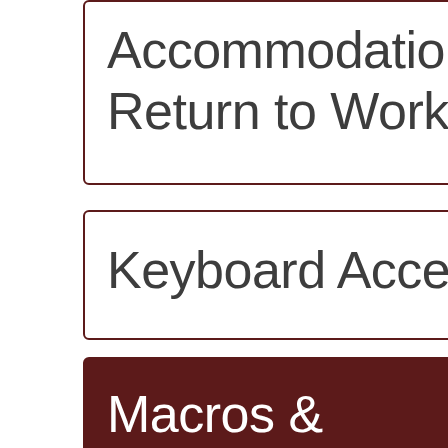Accommodation Return to Work
Keyboard Acces
Macros & Customization